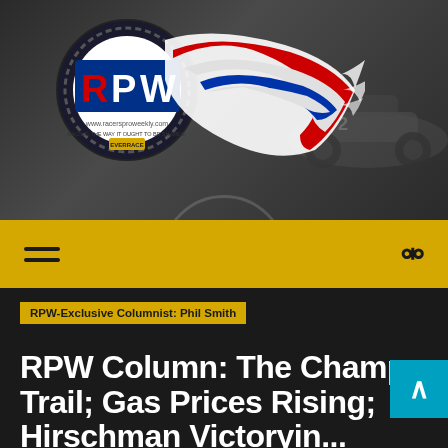[Figure (logo): RPW (RacersProWeekly) logo with circular emblem featuring 'RPW' in red letters and American flag swoosh graphic, set against a dark blurred background of a race track/car scene]
Navigation bar with hamburger menu icon and search icon on a yellow/gold background
RPW-Exclusive Columnist: Phil Smith
RPW Column: The Champ Trail; Gas Prices Rising; Hirschman Victorying...